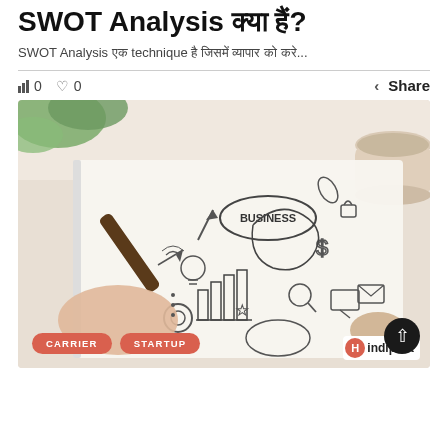SWOT Analysis क्या हैं?
SWOT Analysis एक technique है जिसमें व्यापार को करे...
0  0  Share
[Figure (photo): Person writing business plan in notebook with doodles including arrows, charts, BUSINESS text in speech bubble, dollar signs, light bulb, gears, and other business icons. Green plant leaves visible in top left corner, coffee cup in top right. Image tagged CARRIER and STARTUP with Hindipost logo.]